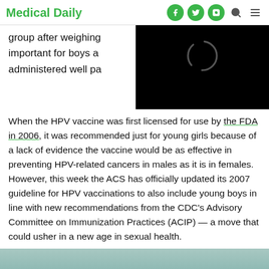Medical Daily
group after weighing important for boys a administered well pa
[Figure (photo): Video player placeholder with loading spinner on black background]
When the HPV vaccine was first licensed for use by the FDA in 2006, it was recommended just for young girls because of a lack of evidence the vaccine would be as effective in preventing HPV-related cancers in males as it is in females. However, this week the ACS has officially updated its 2007 guideline for HPV vaccinations to also include young boys in line with new recommendations from the CDC's Advisory Committee on Immunization Practices (ACIP) — a move that could usher in a new age in sexual health.
[Figure (photo): Bottom partial image showing medical/health related photo with teal/green background tones]